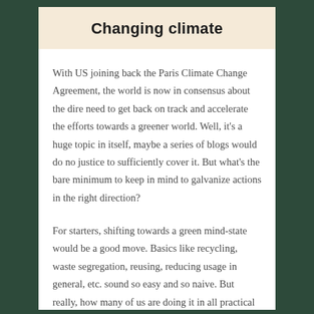Changing climate
With US joining back the Paris Climate Change Agreement, the world is now in consensus about the dire need to get back on track and accelerate the efforts towards a greener world. Well, it’s a huge topic in itself, maybe a series of blogs would do no justice to sufficiently cover it. But what’s the bare minimum to keep in mind to galvanize actions in the right direction?
For starters, shifting towards a green mind-state would be a good move. Basics like recycling, waste segregation, reusing, reducing usage in general, etc. sound so easy and so naive. But really, how many of us are doing it in all practical sense? The 3 Rs (Reduce, Reuse, Recycle) are the mantra for most adults that the